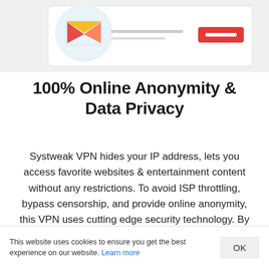[Figure (illustration): Partial screenshot of a VPN app interface with a circular icon showing colorful design elements and a red button on the right side, shown against a light gray background.]
100% Online Anonymity & Data Privacy
Systweak VPN hides your IP address, lets you access favorite websites & entertainment content without any restrictions. To avoid ISP throttling, bypass censorship, and provide online anonymity, this VPN uses cutting edge security technology. By default, Systweak VPN uses AES-256-bit encryption, used by security agencies to conceal
and guard classified information. This means it provides a secure connection between your device
This website uses cookies to ensure you get the best experience on our website. Learn more
OK